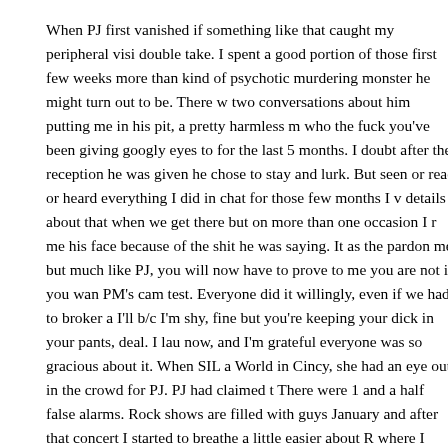When PJ first vanished if something like that caught my peripheral visi double take.  I spent a good portion of those first few weeks more than kind of psychotic murdering monster he might turn out to be.   There w two conversations about him putting me in his pit, a pretty harmless m who the fuck you've been giving googly eyes to for the last 5 months. I doubt after the reception he was given he chose to stay and lurk.  But seen or read or heard everything I did in chat for those few months I v details about that when we get there but on more than one occasion I r me his face because of the shit he was saying.   It as the pardon me but much like PJ,  you will now have to prove to me you are not if you wan PM's cam test.   Everyone did it willingly, even if we had to broker a I'll b/c I'm shy, fine but you're keeping your dick in your pants, deal.   I lau now,  and I'm grateful everyone was so gracious about it.    When SIL a World in Cincy,  she had an eye out in the crowd for PJ. PJ had claimed t  There were 1 and a half false alarms.  Rock shows are filled with guys January and after that concert I started to breathe a little easier about R where I was. Both from a desperate to see him and from a scared to de
So very early one morning in February I climbed on a plane and sat do Husband had the window and some dude was between us.  The plane st